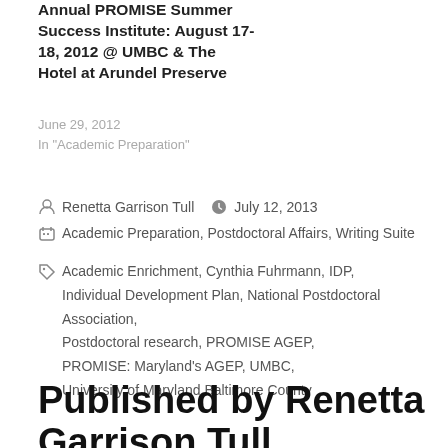Annual PROMISE Summer Success Institute: August 17-18, 2012 @ UMBC & The Hotel at Arundel Preserve
June 29, 2012
In "Academic Preparation"
Renetta Garrison Tull   July 12, 2013
Academic Preparation, Postdoctoral Affairs, Writing Suite
Academic Enrichment, Cynthia Fuhrmann, IDP, Individual Development Plan, National Postdoctoral Association, Postdoctoral research, PROMISE AGEP, PROMISE: Maryland's AGEP, UMBC, University of Maryland Baltimore County
Published by Renetta Garrison Tull